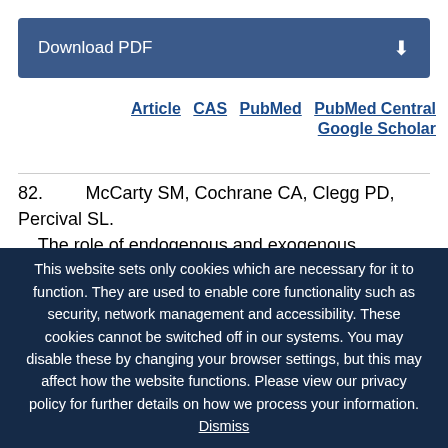[Figure (other): Download PDF button with download icon on dark blue background]
Article  CAS  PubMed  PubMed Central
Google Scholar
82.  McCarty SM, Cochrane CA, Clegg PD, Percival SL. The role of endogenous and exogenous enzymes in chronic wounds: a focus on the implications of
This website sets only cookies which are necessary for it to function. They are used to enable core functionality such as security, network management and accessibility. These cookies cannot be switched off in our systems. You may disable these by changing your browser settings, but this may affect how the website functions. Please view our privacy policy for further details on how we process your information. Dismiss